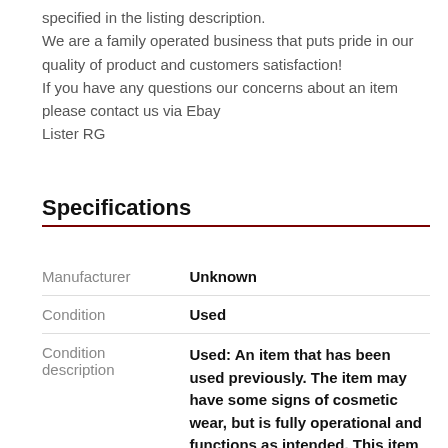specified in the listing description. We are a family operated business that puts pride in our quality of product and customers satisfaction! If you have any questions our concerns about an item please contact us via Ebay Lister RG
Specifications
|  |  |
| --- | --- |
| Manufacturer | Unknown |
| Condition | Used |
| Condition description | Used: An item that has been used previously. The item may have some signs of cosmetic wear, but is fully operational and functions as intended. This item may be a floor model or store return that has |